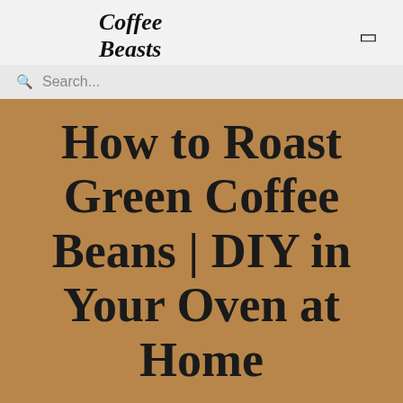Coffee Beasts
Search...
How to Roast Green Coffee Beans | DIY in Your Oven at Home